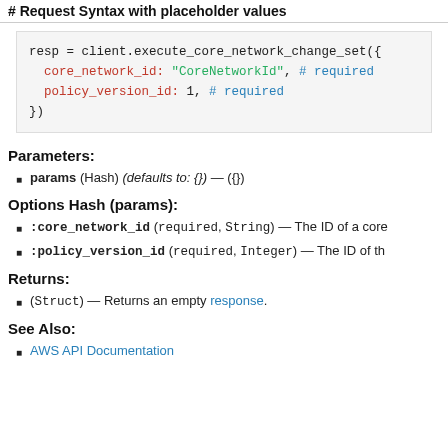# Request Syntax with placeholder values
resp = client.execute_core_network_change_set({
  core_network_id: "CoreNetworkId", # required
  policy_version_id: 1, # required
})
Parameters:
params (Hash) (defaults to: {}) — ({})
Options Hash (params):
:core_network_id (required, String) — The ID of a core
:policy_version_id (required, Integer) — The ID of th
Returns:
(Struct) — Returns an empty response.
See Also:
AWS API Documentation